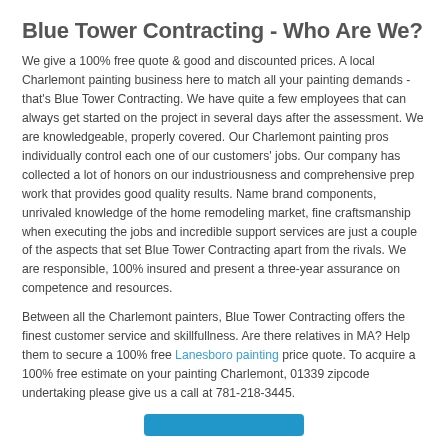Blue Tower Contracting - Who Are We?
We give a 100% free quote & good and discounted prices. A local Charlemont painting business here to match all your painting demands - that's Blue Tower Contracting. We have quite a few employees that can always get started on the project in several days after the assessment. We are knowledgeable, properly covered. Our Charlemont painting pros individually control each one of our customers' jobs. Our company has collected a lot of honors on our industriousness and comprehensive prep work that provides good quality results. Name brand components, unrivaled knowledge of the home remodeling market, fine craftsmanship when executing the jobs and incredible support services are just a couple of the aspects that set Blue Tower Contracting apart from the rivals. We are responsible, 100% insured and present a three-year assurance on competence and resources.
Between all the Charlemont painters, Blue Tower Contracting offers the finest customer service and skillfullness. Are there relatives in MA? Help them to secure a 100% free Lanesboro painting price quote. To acquire a 100% free estimate on your painting Charlemont, 01339 zipcode undertaking please give us a call at 781-218-3445.
[Figure (other): Blue call-to-action button at the bottom of the page]